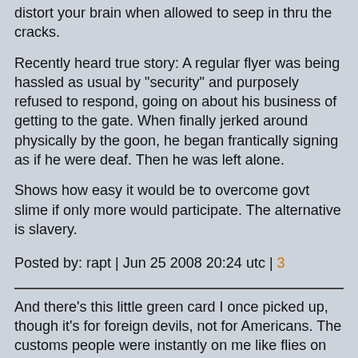distort your brain when allowed to seep in thru the cracks.
Recently heard true story: A regular flyer was being hassled as usual by "security" and purposely refused to respond, going on about his business of getting to the gate. When finally jerked around physically by the goon, he began frantically signing as if he were deaf. Then he was left alone.
Shows how easy it would be to overcome govt slime if only more would participate. The alternative is slavery.
Posted by: rapt | Jun 25 2008 20:24 utc | 3
And there's this little green card I once picked up, though it's for foreign devils, not for Americans. The customs people were instantly on me like flies on shit but I got a quick look at it. It requires you to sign that you forgo all rights (fuck the Constitution and the UDHR). Cheap crap or no cheap crap, Who the fuck would ever set foot in this gulag if they had a choice?
Posted by: ...---... | Jun 25 2008 20:33 utc | 4